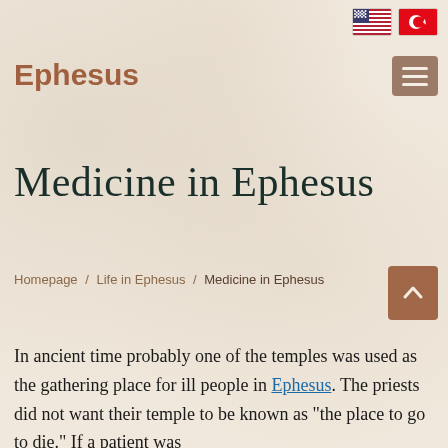[Figure (illustration): US flag icon (stars and stripes) in top right header area]
[Figure (illustration): Turkish flag icon (red with white crescent and star) in top right header area]
Ephesus
[Figure (illustration): Hamburger menu icon (three horizontal lines) on brown rounded square button]
Medicine in Ephesus
Homepage / Life in Ephesus / Medicine in Ephesus
[Figure (illustration): Scroll-to-top button with upward chevron arrow on brown background]
In ancient time probably one of the temples was used as the gathering place for ill people in Ephesus. The priests did not want their temple to be known as "the place to go to die." If a patient was